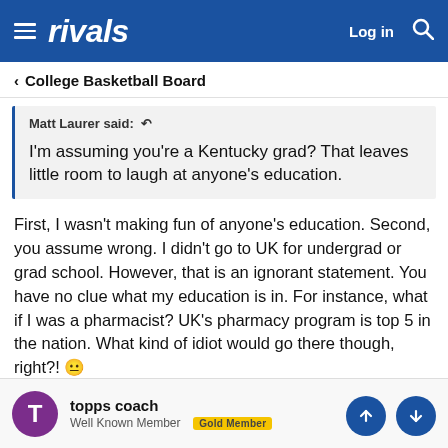rivals — Log in
< College Basketball Board
Matt Laurer said: ↩
I'm assuming you're a Kentucky grad? That leaves little room to laugh at anyone's education.
First, I wasn't making fun of anyone's education. Second, you assume wrong. I didn't go to UK for undergrad or grad school. However, that is an ignorant statement. You have no clue what my education is in. For instance, what if I was a pharmacist? UK's pharmacy program is top 5 in the nation. What kind of idiot would go there though, right?! 😐
topps coach
Well Known Member  Gold Member